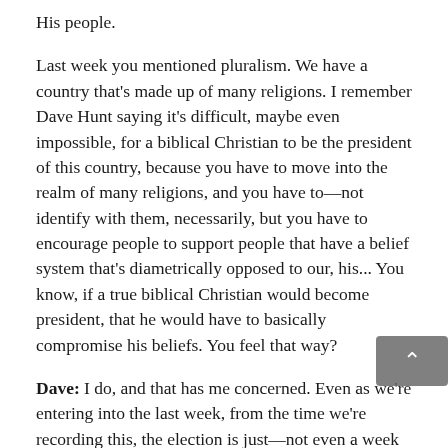His people.
Last week you mentioned pluralism. We have a country that's made up of many religions. I remember Dave Hunt saying it's difficult, maybe even impossible, for a biblical Christian to be the president of this country, because you have to move into the realm of many religions, and you have to—not identify with them, necessarily, but you have to encourage people to support people that have a belief system that's diametrically opposed to our, his... You know, if a true biblical Christian would become president, that he would have to basically compromise his beliefs. You feel that way?
Dave: I do, and that has me concerned. Even as we're entering into the last week, from the time we're recording this, the election is just—not even a week away now, or just over a week away now. And, you know, thinking about, for example, what's going to happen in 2024, not